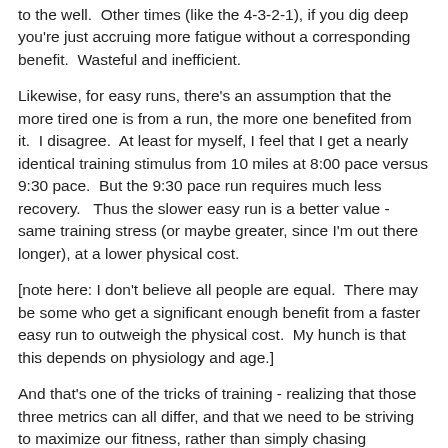to the well.  Other times (like the 4-3-2-1), if you dig deep you're just accruing more fatigue without a corresponding benefit.  Wasteful and inefficient.
Likewise, for easy runs, there's an assumption that the more tired one is from a run, the more one benefited from it.  I disagree.  At least for myself, I feel that I get a nearly identical training stimulus from 10 miles at 8:00 pace versus 9:30 pace.  But the 9:30 pace run requires much less recovery.   Thus the slower easy run is a better value - same training stress (or maybe greater, since I'm out there longer), at a lower physical cost.
[note here: I don't believe all people are equal.  There may be some who get a significant enough benefit from a faster easy run to outweigh the physical cost.  My hunch is that this depends on physiology and age.]
And that's one of the tricks of training - realizing that those three metrics can all differ, and that we need to be striving to maximize our fitness, rather than simply chasing exhaustion.